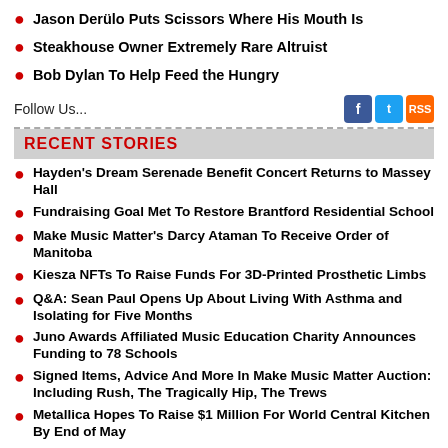Jason Derülo Puts Scissors Where His Mouth Is
Steakhouse Owner Extremely Rare Altruist
Bob Dylan To Help Feed the Hungry
Follow Us...
RECENT STORIES
Hayden's Dream Serenade Benefit Concert Returns to Massey Hall
Fundraising Goal Met To Restore Brantford Residential School
Make Music Matter's Darcy Ataman To Receive Order of Manitoba
Kiesza NFTs To Raise Funds For 3D-Printed Prosthetic Limbs
Q&A: Sean Paul Opens Up About Living With Asthma and Isolating for Five Months
Juno Awards Affiliated Music Education Charity Announces Funding to 78 Schools
Signed Items, Advice And More In Make Music Matter Auction: Including Rush, The Tragically Hip, The Trews
Metallica Hopes To Raise $1 Million For World Central Kitchen By End of May